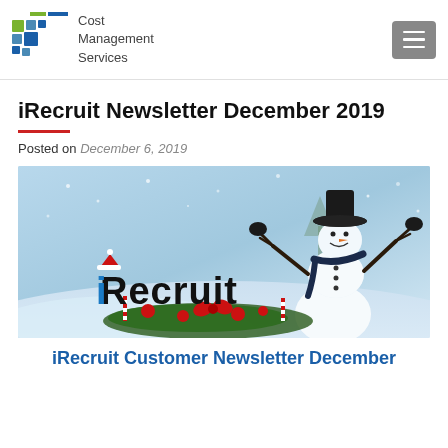Cost Management Services
iRecruit Newsletter December 2019
Posted on December 6, 2019
[Figure (photo): iRecruit Christmas newsletter hero image showing a snowman wearing a black hat and scarf in a snowy winter scene, with the iRecruit logo featuring a Santa hat and holiday decorations (pine branches, red ornaments, candy canes, bow) overlaid in the foreground.]
iRecruit Customer Newsletter December